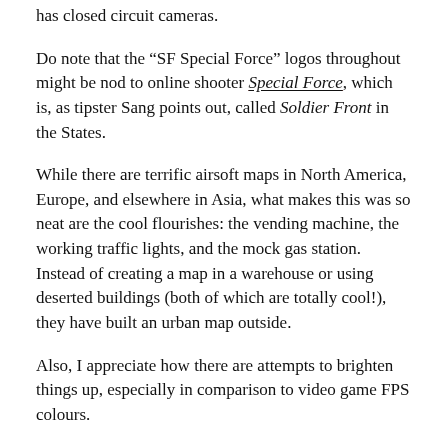has closed circuit cameras.
Do note that the “SF Special Force” logos throughout might be nod to online shooter Special Force, which is, as tipster Sang points out, called Soldier Front in the States.
While there are terrific airsoft maps in North America, Europe, and elsewhere in Asia, what makes this was so neat are the cool flourishes: the vending machine, the working traffic lights, and the mock gas station. Instead of creating a map in a warehouse or using deserted buildings (both of which are totally cool!), they have built an urban map outside.
Also, I appreciate how there are attempts to brighten things up, especially in comparison to video game FPS colours.
Below you can see photos from last summer as well as from a few years back (courtesy of blogs Yeonsili, shiyp, and the GunPower boards).